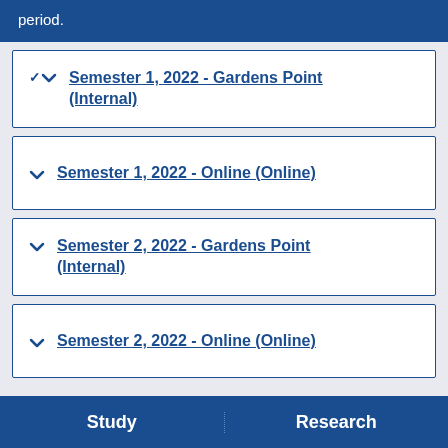period.
Semester 1, 2022 - Gardens Point (Internal)
Semester 1, 2022 - Online (Online)
Semester 2, 2022 - Gardens Point (Internal)
Semester 2, 2022 - Online (Online)
Study | Research